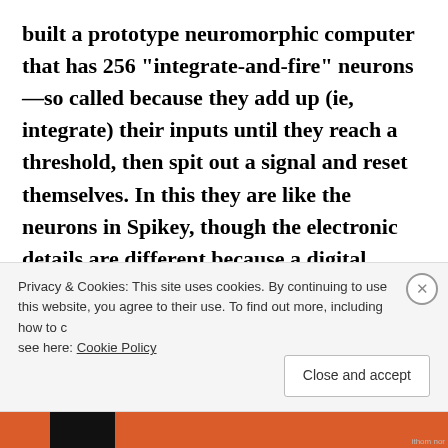built a prototype neuromorphic computer that has 256 “integrate-and-fire” neurons—so called because they add up (ie, integrate) their inputs until they reach a threshold, then spit out a signal and reset themselves. In this they are like the neurons in Spikey, though the electronic details are different because a digital
Privacy & Cookies: This site uses cookies. By continuing to use this website, you agree to their use. To find out more, including how to control cookies, see here: Cookie Policy